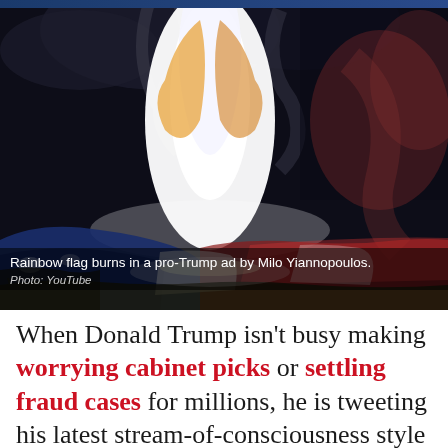[Figure (photo): A rainbow flag burning on the ground, with bright white-orange flames and smoke rising against a dark background. Colors of the flag (blue, red stripes) are visible beneath the fire.]
Rainbow flag burns in a pro-Trump ad by Milo Yiannopoulos.
Photo: YouTube
When Donald Trump isn't busy making worrying cabinet picks or settling fraud cases for millions, he is tweeting his latest stream-of-consciousness style